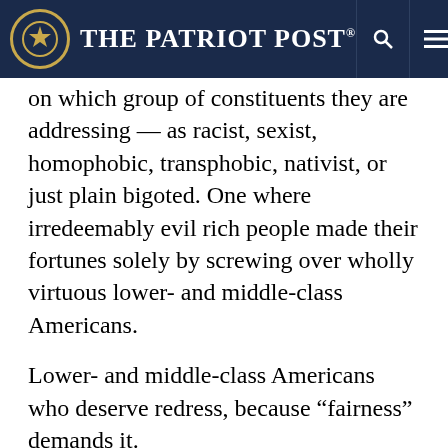The Patriot Post
on which group of constituents they are addressing — as racist, sexist, homophobic, transphobic, nativist, or just plain bigoted. One where irredeemably evil rich people made their fortunes solely by screwing over wholly virtuous lower- and middle-class Americans.
Lower- and middle-class Americans who deserve redress, because “fairness” demands it.
Thus, Warren’s plan, estimated to cost $640 billion, would be underwritten by a 2% “wealth tax” on individuals earning greater than $50 million, which Warren claims would raise enough money to fund the cancellation of student-loan debts and universal pre-K. It would forgive $50,000 of student-loan debt for individuals in households earning less than